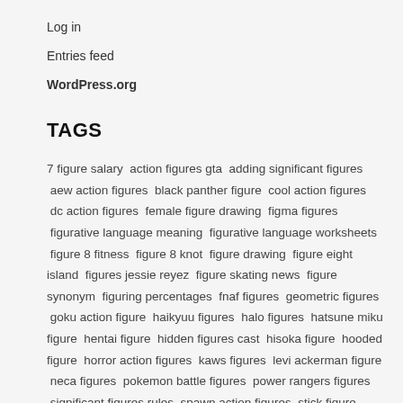Log in
Entries feed
WordPress.org
TAGS
7 figure salary  action figures gta  adding significant figures  aew action figures  black panther figure  cool action figures  dc action figures  female figure drawing  figma figures  figurative language meaning  figurative language worksheets  figure 8 fitness  figure 8 knot  figure drawing  figure eight island  figures jessie reyez  figure skating news  figure synonym  figuring percentages  fnaf figures  geometric figures  goku action figure  haikyuu figures  halo figures  hatsune miku figure  hentai figure  hidden figures cast  hisoka figure  hooded figure  horror action figures  kaws figures  levi ackerman figure  neca figures  pokemon battle figures  power rangers figures  significant figures rules  spawn action figures  stick figure  stick figure dog  stick figure running  superhero action